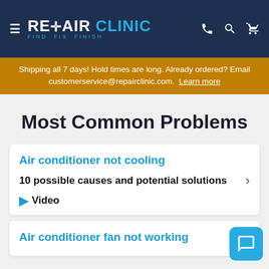≡ REPAIR CLINIC FIND. FIX. FINISH.
Shipping all 7 days! Hold times are long. Already ordered? Email customerservice@repairclinic.com. Learn more
Most Common Problems
Air conditioner not cooling
10 possible causes and potential solutions
▶ Video
Air conditioner fan not working